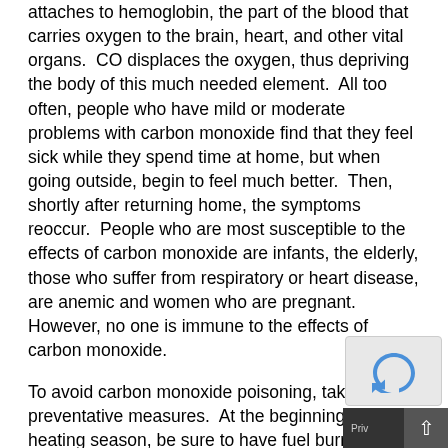attaches to hemoglobin, the part of the blood that carries oxygen to the brain, heart, and other vital organs. CO displaces the oxygen, thus depriving the body of this much needed element. All too often, people who have mild or moderate problems with carbon monoxide find that they feel sick while they spend time at home, but when going outside, begin to feel much better. Then, shortly after returning home, the symptoms reoccur. People who are most susceptible to the effects of carbon monoxide are infants, the elderly, those who suffer from respiratory or heart disease, are anemic and women who are pregnant. However, no one is immune to the effects of carbon monoxide.
To avoid carbon monoxide poisoning, take these preventative measures. At the beginning of every heating season, be sure to have fuel burning equipment such as oil or gas fired furnaces, fireplaces and wood stoves inspected by certified technicians. Be sure appliances such as water heaters, oven ranges, and clothes dryers are working properly. Have flues and chimneys checked for any bu[ildup] of creosote or blockage of the chimney. Be sure to m[aintain] all fuel-fired equipment as described by the manufact[urer's] specifications. NEVER leave a car running in an attached[...]